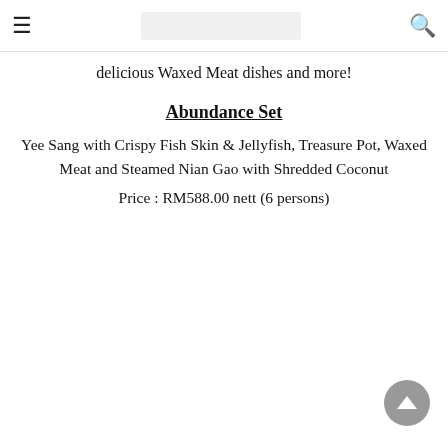≡  [search bar]  🔍
delicious Waxed Meat dishes and more!
Abundance Set
Yee Sang with Crispy Fish Skin & Jellyfish, Treasure Pot, Waxed Meat and Steamed Nian Gao with Shredded Coconut
Price : RM588.00 nett (6 persons)